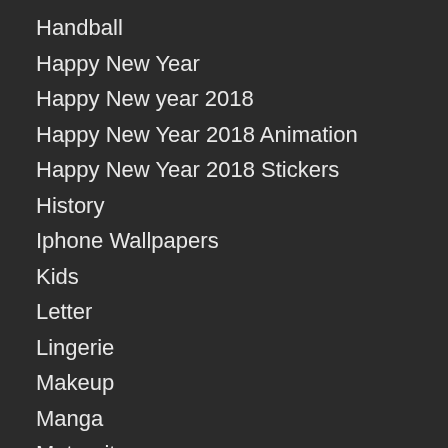Handball
Happy New Year
Happy New year 2018
Happy New Year 2018 Animation
Happy New Year 2018 Stickers
History
Iphone Wallpapers
Kids
Letter
Lingerie
Makeup
Manga
Maternity
Minimalist Wallpapers
Mobile Wallpapers